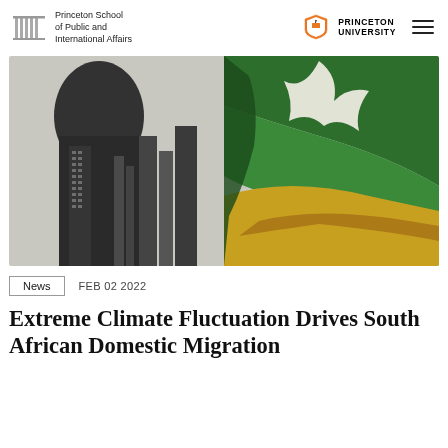Princeton School of Public and International Affairs | PRINCETON UNIVERSITY
[Figure (photo): Abstract artistic image combining a dark urban silhouette with a colorful South African landscape featuring green hills, yellow fields, and white floral shapes.]
News   FEB 02 2022
Extreme Climate Fluctuation Drives South African Domestic Migration